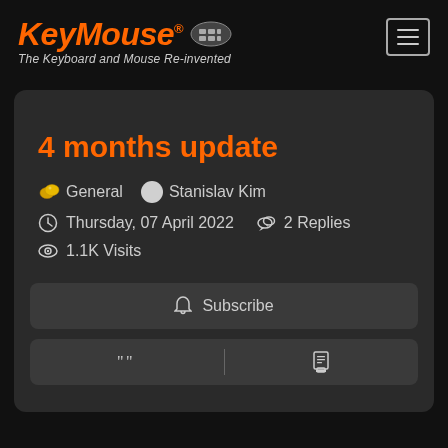KeyMouse® — The Keyboard and Mouse Re-invented
4 months update
General  Stanislav Kim
Thursday, 07 April 2022  2 Replies
1.1K Visits
Subscribe
Quote  Print